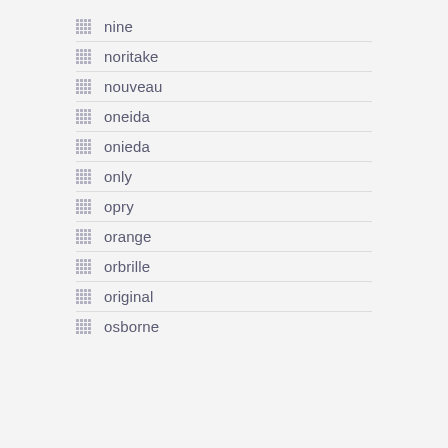nine
noritake
nouveau
oneida
onieda
only
opry
orange
orbrille
original
osborne